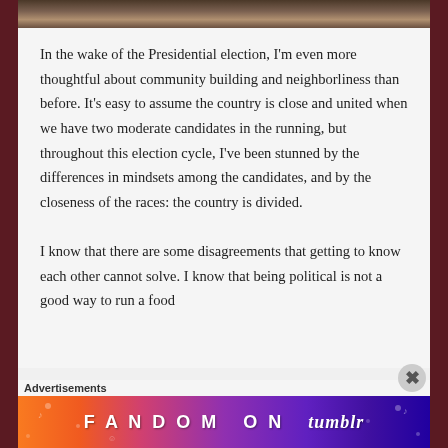[Figure (photo): Cropped photo strip at the top of the page showing a partial image with warm tones]
In the wake of the Presidential election, I'm even more thoughtful about community building and neighborliness than before. It's easy to assume the country is close and united when we have two moderate candidates in the running, but throughout this election cycle, I've been stunned by the differences in mindsets among the candidates, and by the closeness of the races: the country is divided.

I know that there are some disagreements that getting to know each other cannot solve. I know that being political is not a good way to run a food
Advertisements
[Figure (infographic): FANDOM ON tumblr advertisement banner with colorful gradient background from orange to purple with decorative icons]